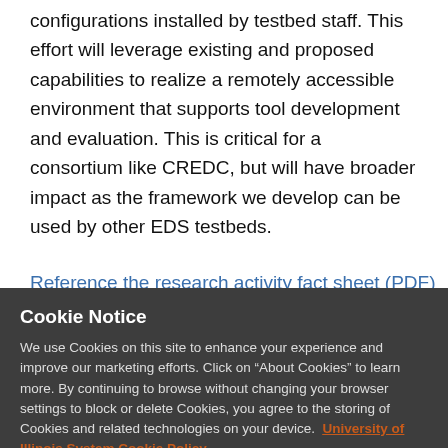physically present at the testbed, with experiment configurations installed by testbed staff. This effort will leverage existing and proposed capabilities to realize a remotely accessible environment that supports tool development and evaluation. This is critical for a consortium like CREDC, but will have broader impact as the framework we develop can be used by other EDS testbeds.
Reference the research activity fact sheet (PDF) for an
Cookie Notice
We use Cookies on this site to enhance your experience and improve our marketing efforts. Click on “About Cookies” to learn more. By continuing to browse without changing your browser settings to block or delete Cookies, you agree to the storing of Cookies and related technologies on your device. University of Illinois System Cookie Policy